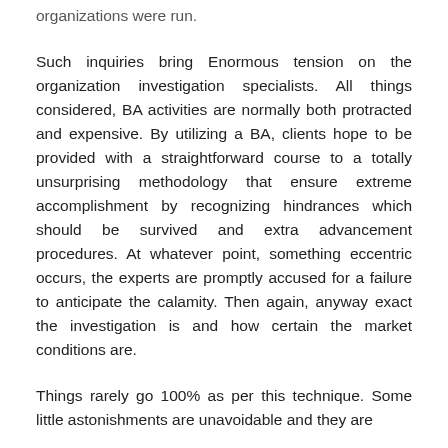organizations were run.
Such inquiries bring Enormous tension on the organization investigation specialists. All things considered, BA activities are normally both protracted and expensive. By utilizing a BA, clients hope to be provided with a straightforward course to a totally unsurprising methodology that ensure extreme accomplishment by recognizing hindrances which should be survived and extra advancement procedures. At whatever point, something eccentric occurs, the experts are promptly accused for a failure to anticipate the calamity. Then again, anyway exact the investigation is and how certain the market conditions are.
Things rarely go 100% as per this technique. Some little astonishments are unavoidable and they are